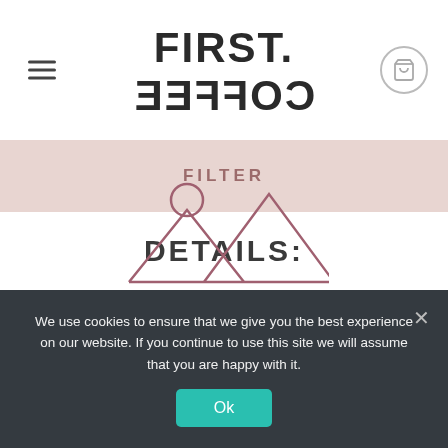[Figure (logo): First Coffee logo with stylized mirrored text, hamburger menu icon on left, cart icon on right]
FILTER
DETAILS:
[Figure (illustration): Outline icon of mountains and sun/circle — image placeholder graphic in mauve/rose color]
We use cookies to ensure that we give you the best experience on our website. If you continue to use this site we will assume that you are happy with it.